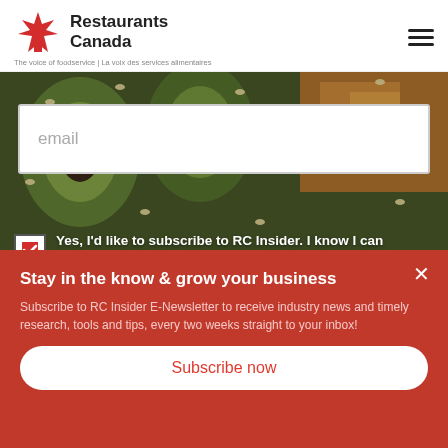[Figure (logo): Restaurants Canada logo with maple leaf icon and text 'Restaurants Canada'. Tagline: 'The voice of foodservice | La voix des services alimentaires']
[Figure (photo): Background food photo showing avocado, sesame seeds, and various food items with green and orange tones]
email
Yes, I'd like to subscribe to RC Insider. I know I can unsubscribe at any time.*
Stay in the know & grow your business
Subscribe to RC Insider E-Newsletter to receive industry news and timely research, tools and tips, every two weeks straight to your inbox!
Subscribe now